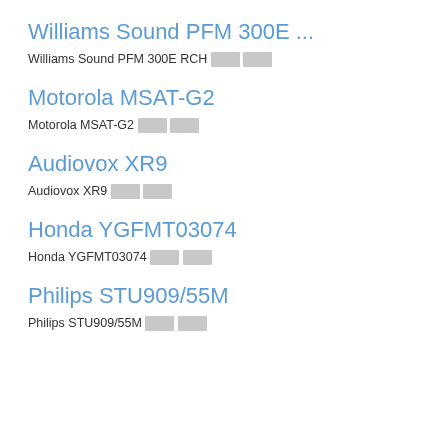Williams Sound PFM 300E ...
Williams Sound PFM 300E RCH [redacted] [redacted]
Motorola MSAT-G2
Motorola MSAT-G2 [redacted] [redacted]
Audiovox XR9
Audiovox XR9 [redacted] [redacted]
Honda YGFMT03074
Honda YGFMT03074 [redacted] [redacted]
Philips STU909/55M
Philips STU909/55M [redacted] [redacted]